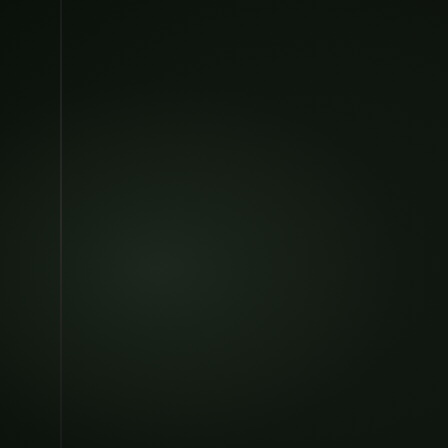[Figure (illustration): Dark leather-bound book spine and cover on the left half of the page, with a gold vertical line decoration separating the book from the text content area]
week. When they ca town Azalahn spent m profit on medical care There were some of t mercenaries that talke getting their own tave the mercenary work, a time Azalahn got hoo idea. The contract the signed on for came to some of them had be many years, but Azala signed on for 10 year and his original group Voldar to collect. The poor indeed. Some of comments about bein as a beggars. Actually didn't think the pay w but he had signed on leadership had come him in fact this was ea the theories his maste him study and thus he officer's salary. Azalahn was now 21